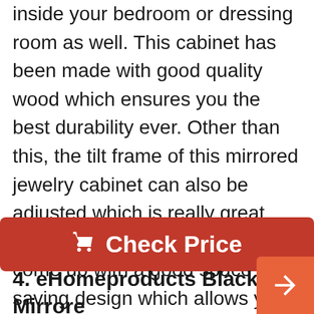inside your bedroom or dressing room as well. This cabinet has been made with good quality wood which ensures you the best durability ever. Other than this, the tilt frame of this mirrored jewelry cabinet can also be adjusted which is really great. More than that, this cabinet has come up with a good space saving design which allows you to store all of your belongings such as makeup, perfume, rings, earring, necklace and more in just a single cabinet.
[Figure (other): Red 'Check Price' button with shopping cart icon]
4. eHomeproducts Black Mirrored Jewelry Cabinet